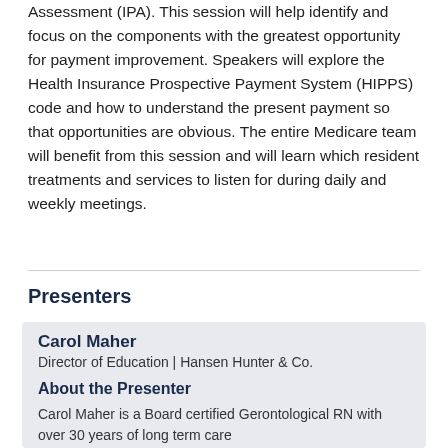Assessment (IPA). This session will help identify and focus on the components with the greatest opportunity for payment improvement. Speakers will explore the Health Insurance Prospective Payment System (HIPPS) code and how to understand the present payment so that opportunities are obvious. The entire Medicare team will benefit from this session and will learn which resident treatments and services to listen for during daily and weekly meetings.
Presenters
Carol Maher
Director of Education | Hansen Hunter & Co.
About the Presenter
Carol Maher is a Board certified Gerontological RN with over 30 years of long term care